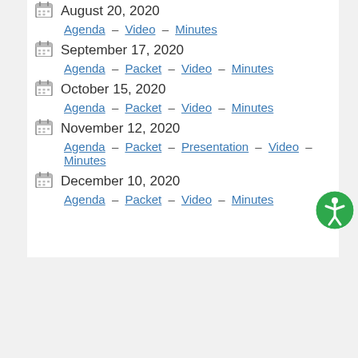August 20, 2020 – Agenda – Video – Minutes
September 17, 2020 – Agenda – Packet – Video – Minutes
October 15, 2020 – Agenda – Packet – Video – Minutes
November 12, 2020 – Agenda – Packet – Presentation – Video – Minutes
December 10, 2020 – Agenda – Packet – Video – Minutes